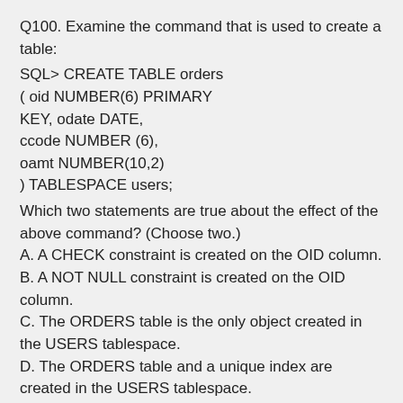Q100. Examine the command that is used to create a table:
SQL> CREATE TABLE orders
( oid NUMBER(6) PRIMARY KEY, odate DATE,
ccode NUMBER (6),
oamt NUMBER(10,2)
) TABLESPACE users;
Which two statements are true about the effect of the above command? (Choose two.)
A. A CHECK constraint is created on the OID column.
B. A NOT NULL constraint is created on the OID column.
C. The ORDERS table is the only object created in the USERS tablespace.
D. The ORDERS table and a unique index are created in the USERS tablespace.
E. The ORDERS table is created in the USERS tablespace and a unique index is created on the OID column in the